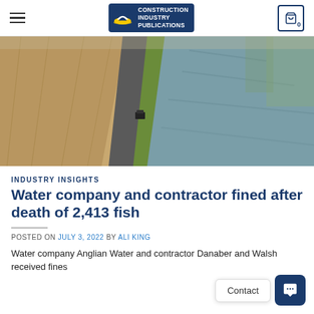Construction Industry Publications
[Figure (photo): Aerial view of a flooded rural road or canal flanked by green grass strip and bare agricultural fields on the left, with water on the right side reflecting trees]
INDUSTRY INSIGHTS
Water company and contractor fined after death of 2,413 fish
POSTED ON JULY 3, 2022 BY ALI KING
Water company Anglian Water and contractor Danaber and Walsh received fines